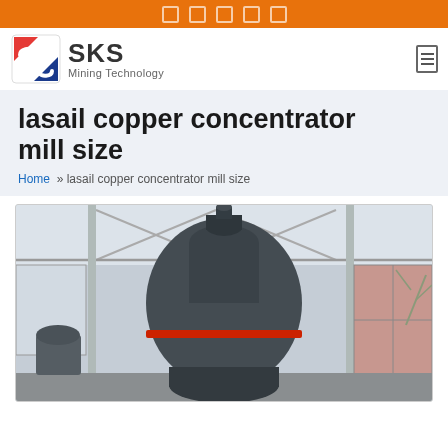SKS Mining Technology
lasail copper concentrator mill size
Home » lasail copper concentrator mill size
[Figure (photo): Industrial copper concentrator mill equipment photographed inside a large warehouse/factory building. A large dark grey ball mill or similar grinding equipment is prominently shown in the foreground, with structural steel roof trusses visible above and factory windows in the background.]